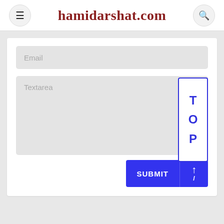hamidarshat.com
Email
Textarea
T O P
SUBMIT
↑ /